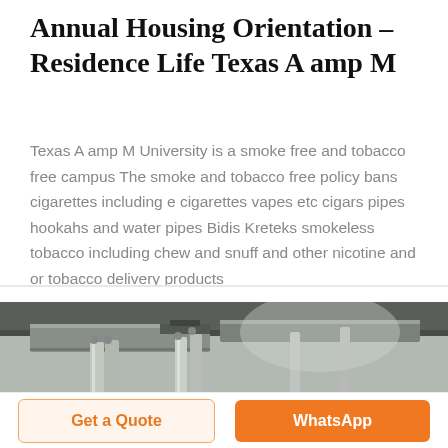Annual Housing Orientation – Residence Life Texas A amp M
Texas A amp M University is a smoke free and tobacco free campus The smoke and tobacco free policy bans cigarettes including e cigarettes vapes etc cigars pipes hookahs and water pipes Bidis Kreteks smokeless tobacco including chew and snuff and other nicotine and or tobacco delivery products
[Figure (photo): Interior ceiling photograph showing industrial HVAC ductwork, pipes, and mechanical systems in a building, shown in greyscale/monochrome tones.]